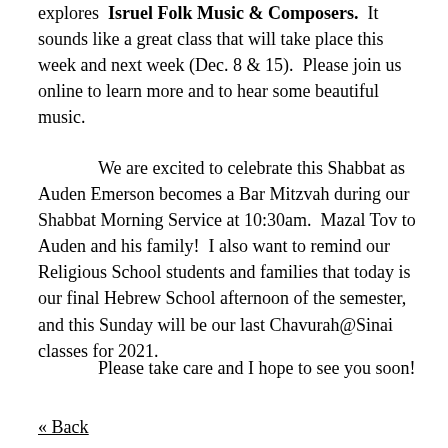explores “Isruel Folk Music & Composers.”  It sounds like a great class that will take place this week and next week (Dec. 8 & 15).  Please join us online to learn more and to hear some beautiful music.
We are excited to celebrate this Shabbat as Auden Emerson becomes a Bar Mitzvah during our Shabbat Morning Service at 10:30am.  Mazal Tov to Auden and his family!  I also want to remind our Religious School students and families that today is our final Hebrew School afternoon of the semester, and this Sunday will be our last Chavurah@Sinai classes for 2021.
Please take care and I hope to see you soon!
« Back